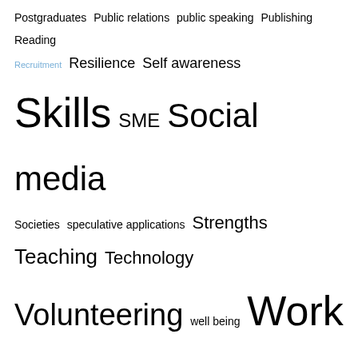[Figure (other): Tag cloud with various education/career-related terms in blue, varying font sizes]
Follow us on Twitter
[Figure (screenshot): Twitter widget showing Tweets from @SO_Warwick, with a tweet from Warwick Uni S... (@SO_...) dated Aug 2 saying 'If you are taking the time over the summer to work on your CV and apply for jobs then take a look at all the resources we have']